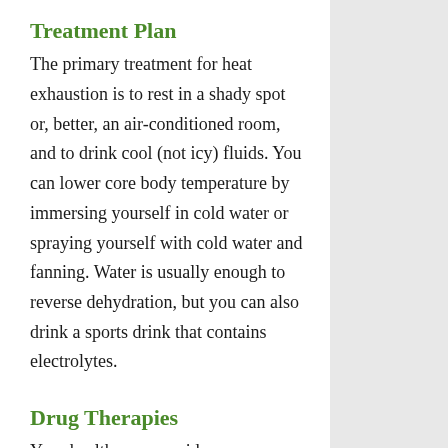Treatment Plan
The primary treatment for heat exhaustion is to rest in a shady spot or, better, an air-conditioned room, and to drink cool (not icy) fluids. You can lower core body temperature by immersing yourself in cold water or spraying yourself with cold water and fanning. Water is usually enough to reverse dehydration, but you can also drink a sports drink that contains electrolytes.
Drug Therapies
Your health care provider may recommend an oral or intravenous